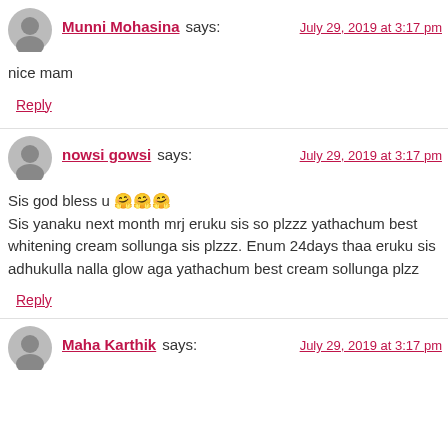Munni Mohasina says: July 29, 2019 at 3:17 pm
nice mam
Reply
nowsi gowsi says: July 29, 2019 at 3:17 pm
Sis god bless u 🤗🤗🤗 Sis yanaku next month mrj eruku sis so plzzz yathachum best whitening cream sollunga sis plzzz. Enum 24days thaa eruku sis adhukulla nalla glow aga yathachum best cream sollunga plzz
Reply
Maha Karthik says: July 29, 2019 at 3:17 pm